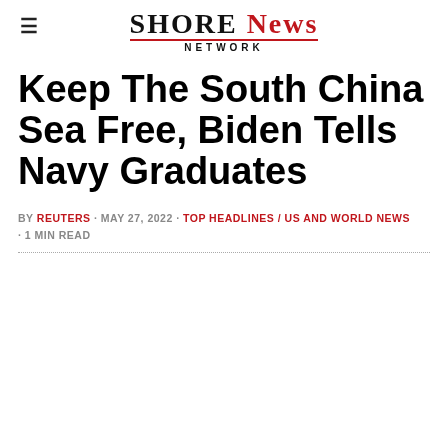SHORE NEWS NETWORK
Keep The South China Sea Free, Biden Tells Navy Graduates
BY REUTERS · MAY 27, 2022 · TOP HEADLINES / US AND WORLD NEWS · 1 MIN READ